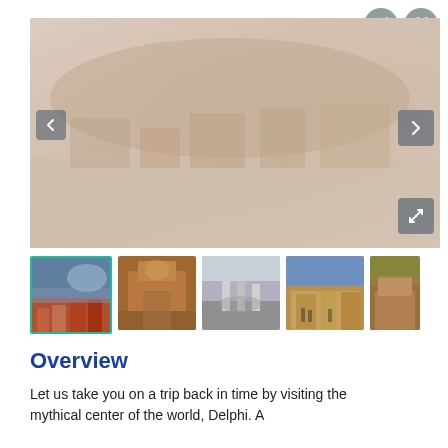[Figure (photo): Main large banner photo of a Greek historical town/ruins with navigation arrows (left and right) and an expand button. Faded/light appearance of a hillside town.]
[Figure (photo): Row of five thumbnail photos of Greek historical sites: 1) coastal town with red rooftops, 2) Byzantine brick church, 3) ancient columns/ruins, 4) stone building with tourists, 5) stone building close-up. First thumbnail has teal selection border.]
Overview
Let us take you on a trip back in time by visiting the mythical center of the world, Delphi. A